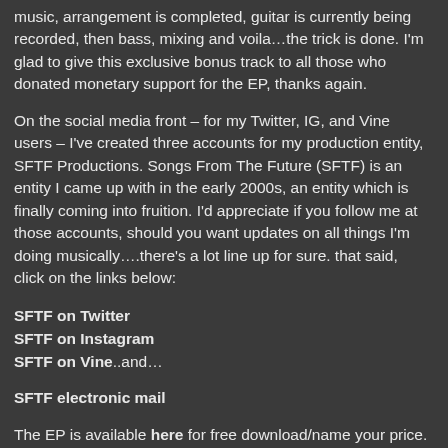music, arrangement is completed, guitar is currently being recorded, then bass, mixing and voila…the trick is done. I'm glad to give this exclusive bonus track to all those who donated monetary support for the EP, thanks again.
On the social media front – for my Twitter, IG, and Vine users – I've created three accounts for my production entity, SFTF Productions. Songs From The Future (SFTF) is an entity I came up with in the early 2000s, an entity which is finally coming into fruition. I'd appreciate if you follow me at those accounts, should you want updates on all things I'm doing musically….there's a lot line up for sure. that said, click on the links below:
SFTF on Twitter
SFTF on Instagram
SFTF on Vine..and…
SFTF electronic mail
The EP is available here for free download/name your price. I hope you enjoy it either way.